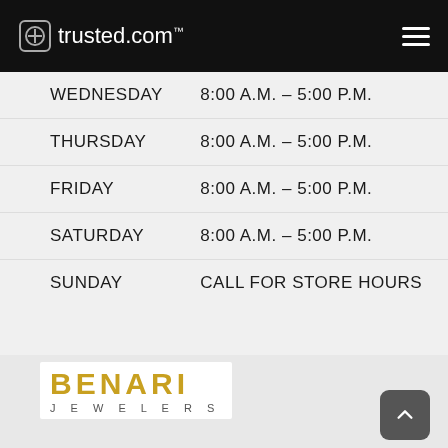trusted.com
| Day | Hours |
| --- | --- |
| WEDNESDAY | 8:00 A.M. – 5:00 P.M. |
| THURSDAY | 8:00 A.M. – 5:00 P.M. |
| FRIDAY | 8:00 A.M. – 5:00 P.M. |
| SATURDAY | 8:00 A.M. – 5:00 P.M. |
| SUNDAY | CALL FOR STORE HOURS |
[Figure (logo): Benari Jewelers logo with gold uppercase BENARI text and gray JEWELERS text below]
CONTACT RETAILER
BENARI JEWELERS